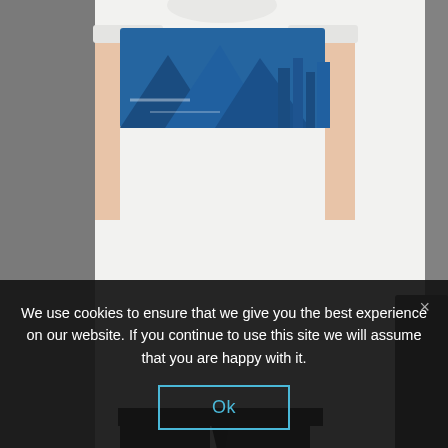[Figure (photo): A person wearing a white t-shirt with a blue mountain and city skyline graphic print, paired with black pants. The image is cropped at chest level, showing no face. Background is grey.]
We use cookies to ensure that we give you the best experience on our website. If you continue to use this site we will assume that you are happy with it.
Ok